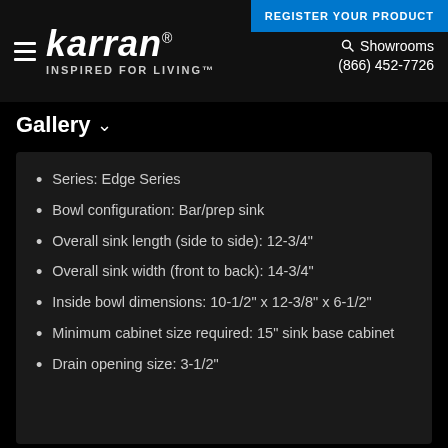karran® INSPIRED FOR LIVING™ | REGISTER YOUR PRODUCT | Showrooms | (866) 452-7726
Gallery
Series: Edge Series
Bowl configuration: Bar/prep sink
Overall sink length (side to side): 12-3/4"
Overall sink width (front to back): 14-3/4"
Inside bowl dimensions: 10-1/2" x 12-3/8" x 6-1/2"
Minimum cabinet size required: 15" sink base cabinet
Drain opening size: 3-1/2"